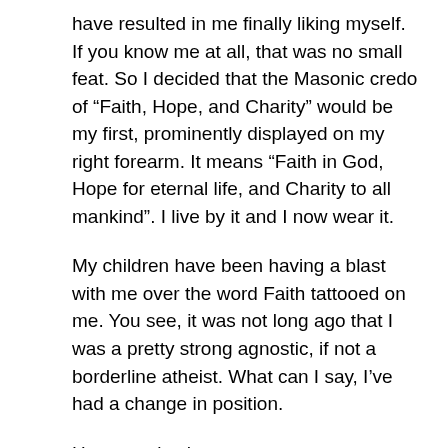have resulted in me finally liking myself. If you know me at all, that was no small feat. So I decided that the Masonic credo of “Faith, Hope, and Charity” would be my first, prominently displayed on my right forearm. It means “Faith in God, Hope for eternal life, and Charity to all mankind”. I live by it and I now wear it.
My children have been having a blast with me over the word Faith tattooed on me. You see, it was not long ago that I was a pretty strong agnostic, if not a borderline atheist. What can I say, I’ve had a change in position.
Hey, people change.